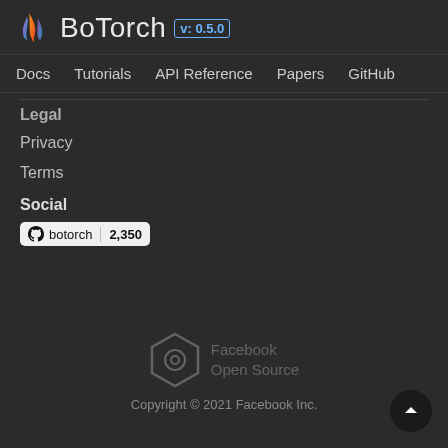BoTorch v: 0.5.0
Docs  Tutorials  API Reference  Papers  GitHub
Legal
Privacy
Terms
Social
[Figure (other): GitHub button showing botorch with star count 2,350]
[Figure (logo): Facebook Open Source hexagonal logo with text]
Copyright © 2021 Facebook Inc.